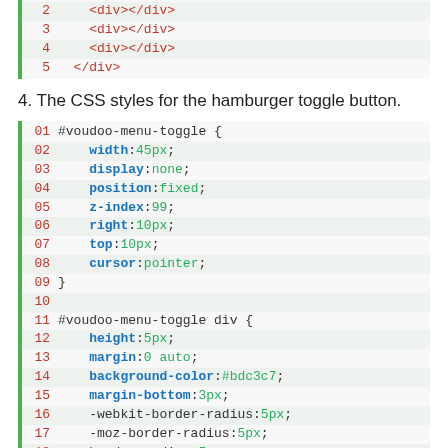[Figure (screenshot): Code block showing HTML lines 2-5 with div tags inside a parent div]
4. The CSS styles for the hamburger toggle button.
[Figure (screenshot): Code block showing CSS for #voudoo-menu-toggle and #voudoo-menu-toggle div selectors, lines 01-19]